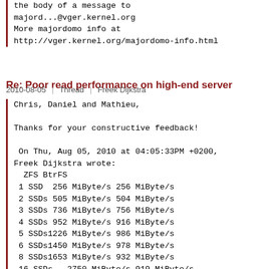the body of a message to
majord...@vger.kernel.org
More majordomo info at
http://vger.kernel.org/majordomo-info.html
Re: Poor read performance on high-end server
2010-08-05 | Thread | Freek Dijkstra
Chris, Daniel and Mathieu,

Thanks for your constructive feedback!

 On Thu, Aug 05, 2010 at 04:05:33PM +0200,
Freek Dijkstra wrote:
  ZFS BtrFS
 1 SSD  256 MiByte/s 256 MiByte/s
 2 SSDs 505 MiByte/s 504 MiByte/s
 3 SSDs 736 MiByte/s 756 MiByte/s
 4 SSDs 952 MiByte/s 916 MiByte/s
 5 SSDs1226 MiByte/s 986 MiByte/s
 6 SSDs1450 MiByte/s 978 MiByte/s
 8 SSDs1653 MiByte/s 932 MiByte/s
 16 SSDs   2750 MiByte/s 919 MiByte/s